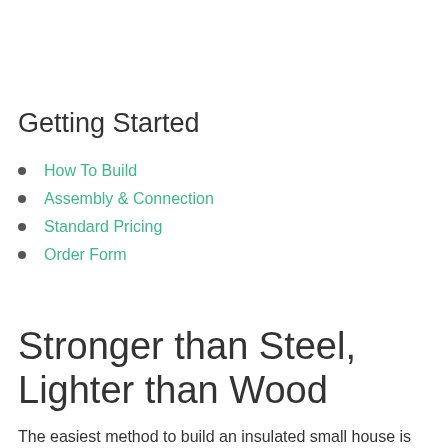Getting Started
How To Build
Assembly & Connection
Standard Pricing
Order Form
Stronger than Steel, Lighter than Wood
The easiest method to build an insulated small house is